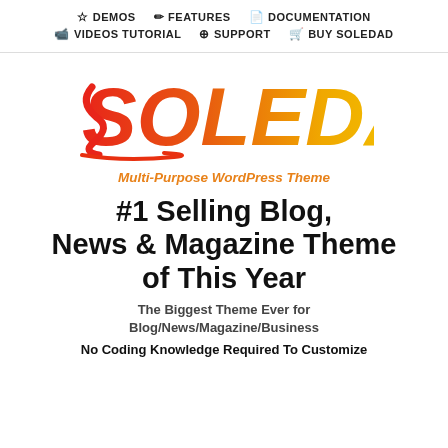☆ DEMOS  ✎ FEATURES  ☰ DOCUMENTATION  ▶ VIDEOS TUTORIAL  ◎ SUPPORT  ■ BUY SOLEDAD
[Figure (logo): SOLEDAD logo with gradient from red to yellow, with a stylized S in red]
Multi-Purpose WordPress Theme
#1 Selling Blog, News & Magazine Theme of This Year
The Biggest Theme Ever for Blog/News/Magazine/Business
No Coding Knowledge Required To Customize